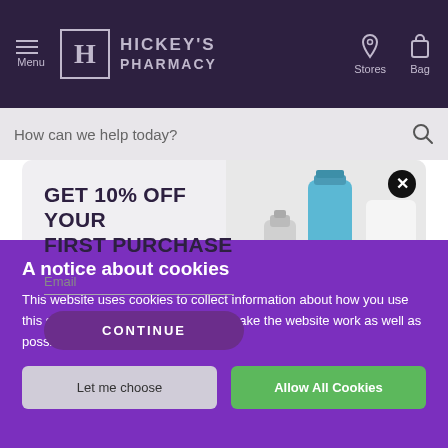Menu | HICKEY'S PHARMACY | Stores | Bag
How can we help today?
[Figure (screenshot): Promotional modal popup offering 10% off first purchase with email field and CONTINUE button, showing Vichy and CeraVe skincare products on the right side]
A notice about cookies
This website uses cookies to collect information about how you use this site. This information is used to make the website work as well as possible. Privacy Policy
Let me choose
Allow All Cookies